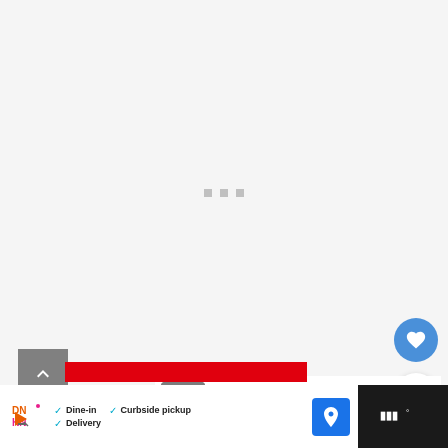[Figure (screenshot): A mostly blank light gray webpage loading state with three small gray loading dots centered in the main content area]
[Figure (screenshot): Blue circular heart/favorite button on the right side]
[Figure (screenshot): White circular share button with share icon on the right side]
[Figure (screenshot): Gray square scroll-to-top button with upward chevron arrow on the left side]
[Figure (screenshot): WHAT'S NEXT card showing 'Top 10 Best Snow Tires f...' with tire thumbnail]
[Figure (screenshot): Red banner bar in the lower middle of the page]
[Figure (screenshot): Dunkin' Donuts advertisement bar at bottom showing Dine-in, Curbside pickup, and Delivery options with a map pin button, and Waze-style dark right section]